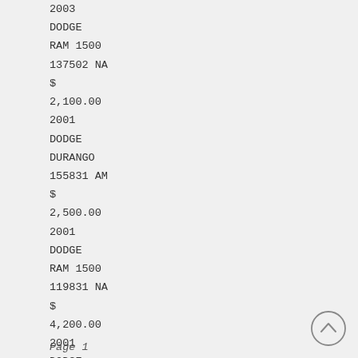2003
DODGE
RAM 1500
137502 NA
$
2,100.00
2001
DODGE
DURANGO
155831 AM
$
2,500.00
2001
DODGE
RAM 1500
119831 NA
$
4,200.00
2001
DODGE
RAM 2500
169846 NA
$
1,275.00
Page 1